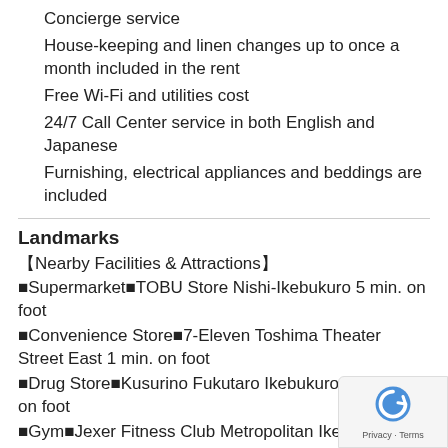Concierge service
House-keeping and linen changes up to once a month included in the rent
Free Wi-Fi and utilities cost
24/7 Call Center service in both English and Japanese
Furnishing, electrical appliances and beddings are included
Landmarks
【Nearby Facilities & Attractions】
■Supermarket■TOBU Store Nishi-Ikebukuro 5 min. on foot
■Convenience Store■7-Eleven Toshima Theater Street East 1 min. on foot
■Drug Store■Kusurino Fukutaro Ikebukuro West min. on foot
■Gym■Jexer Fitness Club Metropolitan Ikebukuro 1